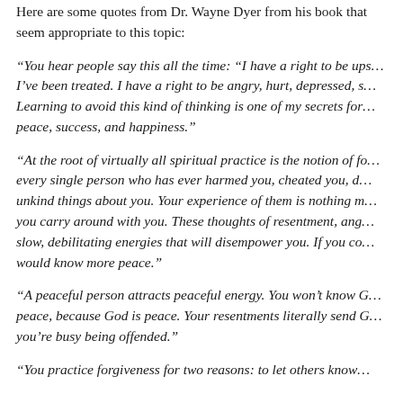Here are some quotes from Dr. Wayne Dyer from his book that seem appropriate to this topic:
"You hear people say this all the time: "I have a right to be upset by the way I've been treated. I have a right to be angry, hurt, depressed, sad, and unkind. Learning to avoid this kind of thinking is one of my secrets for inner peace, success, and happiness."
"At the root of virtually all spiritual practice is the notion of forgiving every single person who has ever harmed you, cheated you, deceived you, or said unkind things about you. Your experience of them is nothing more than a thought you carry around with you. These thoughts of resentment, anger, and hatred represent slow, debilitating energies that will disempower you. If you could release them you would know more peace."
"A peaceful person attracts peaceful energy. You won't know God if you're not at peace, because God is peace. Your resentments literally send God away while you're busy being offended."
"You practice forgiveness for two reasons: to let others know that you are no longer willing to carry around...